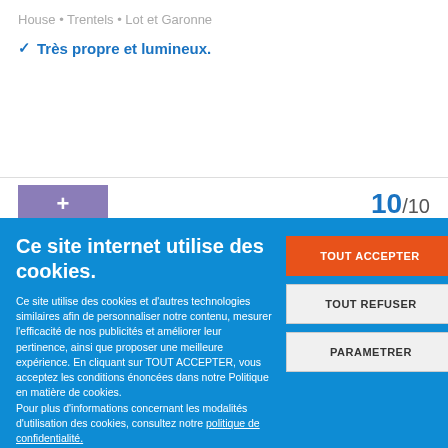House • Trentels • Lot et Garonne
✓ Très propre et lumineux.
10/10
Ce site internet utilise des cookies.
Ce site utilise des cookies et d'autres technologies similaires afin de personnaliser notre contenu, mesurer l'efficacité de nos publicités et améliorer leur pertinence, ainsi que proposer une meilleure expérience. En cliquant sur TOUT ACCEPTER, vous acceptez les conditions énoncées dans notre Politique en matière de cookies. Pour plus d'informations concernant les modalités d'utilisation des cookies, consultez notre politique de confidentialité. Pour modifier vos préférences, vous devez mettre paramétrer vos préférences de cookies.
TOUT ACCEPTER
TOUT REFUSER
PARAMETRER